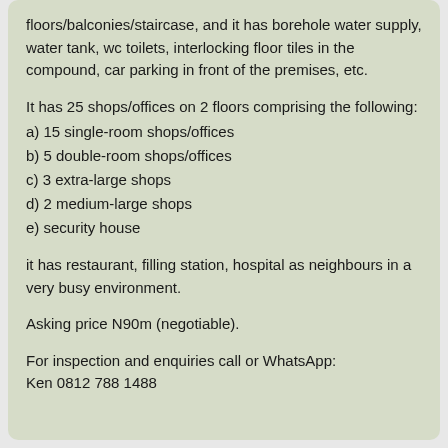floors/balconies/staircase, and it has borehole water supply, water tank, wc toilets, interlocking floor tiles in the compound, car parking in front of the premises, etc.
It has 25 shops/offices on 2 floors comprising the following:
a) 15 single-room shops/offices
b) 5 double-room shops/offices
c) 3 extra-large shops
d) 2 medium-large shops
e) security house
it has restaurant, filling station, hospital as neighbours in a very busy environment.
Asking price N90m (negotiable).
For inspection and enquiries call or WhatsApp: Ken 0812 788 1488